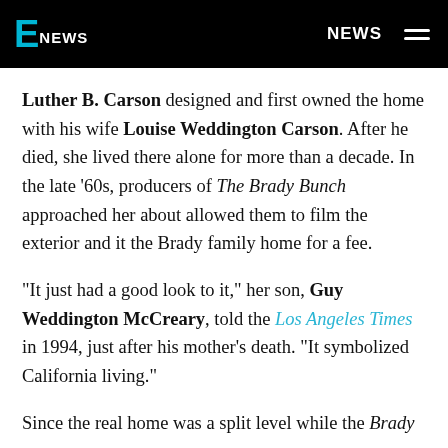E NEWS | NEWS
Luther B. Carson designed and first owned the home with his wife Louise Weddington Carson. After he died, she lived there alone for more than a decade. In the late '60s, producers of The Brady Bunch approached her about allowed them to film the exterior and it the Brady family home for a fee.
"It just had a good look to it," her son, Guy Weddington McCreary, told the Los Angeles Times in 1994, just after his mother's death. "It symbolized California living."
Since the real home was a split level while the Brady